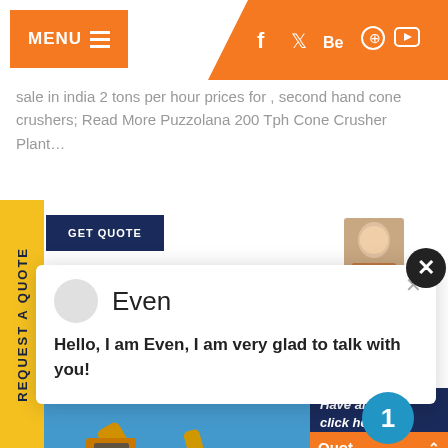MENU
sale in india 2 tons per hour prices for , second hand cone crushers; Read More Puzzolana 200 Tph Cone Crusher Plant…
[Figure (screenshot): Chat popup with avatar, name 'Even', and message 'Hello, I am Even, I am very glad to talk with you!']
[Figure (photo): Yellow construction/mining machinery against blue sky]
REQUEST A QUOTE
GET QUOTE
Have any ... click here.
Quot
Enquiry
drobilkalm